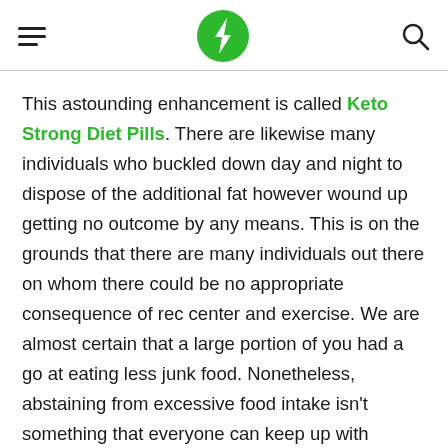[hamburger menu] [lightning bolt logo] [search icon]
This astounding enhancement is called Keto Strong Diet Pills. There are likewise many individuals who buckled down day and night to dispose of the additional fat however wound up getting no outcome by any means. This is on the grounds that there are many individuals out there on whom there could be no appropriate consequence of rec center and exercise. We are almost certain that a large portion of you had a go at eating less junk food. Nonetheless, abstaining from excessive food intake isn't something that everyone can keep up with consistently. Many individuals neglect to comprehend the genuine importance behind consuming less calories and wind up accomplishing